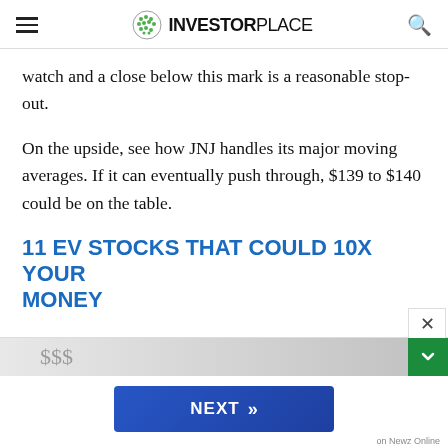INVESTORPLACE
watch and a close below this mark is a reasonable stop-out.
On the upside, see how JNJ handles its major moving averages. If it can eventually push through, $139 to $140 could be on the table.
11 EV STOCKS THAT COULD 10X YOUR MONEY
[Figure (screenshot): Advertisement banner showing a NEXT button with double chevron arrows, labeled 'on Newz Online']